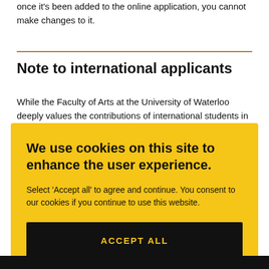once it's been added to the online application, you cannot make changes to it.
Note to international applicants
While the Faculty of Arts at the University of Waterloo deeply values the contributions of international students in our graduate
[Figure (infographic): Cookie consent overlay banner with yellow background. Title: 'We use cookies on this site to enhance the user experience.' Body: 'Select 'Accept all' to agree and continue. You consent to our cookies if you continue to use this website.' Button: 'ACCEPT ALL' in black background with yellow text.]